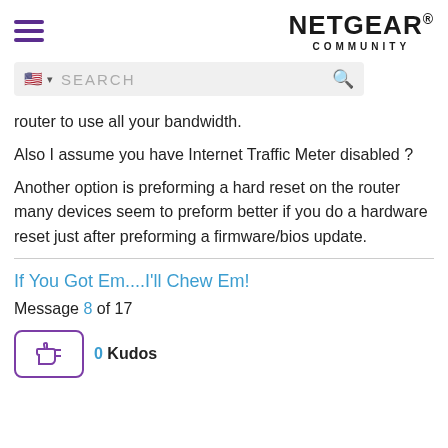NETGEAR COMMUNITY
router to use all your bandwidth.
Also I assume you have Internet Traffic Meter disabled ?
Another option is preforming a hard reset on the router many devices seem to preform better if you do a hardware reset just after preforming a firmware/bios update.
If You Got Em....I'll Chew Em!
Message 8 of 17
0 Kudos